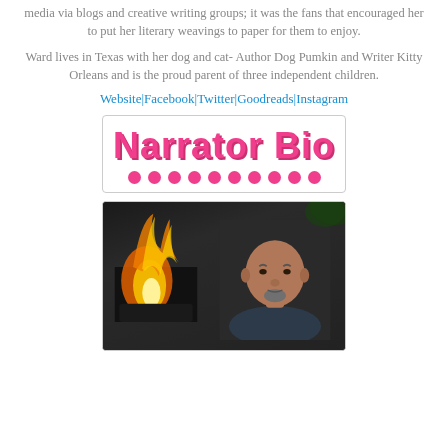media via blogs and creative writing groups; it was the fans that encouraged her to put her literary weavings to paper for them to enjoy.
Ward lives in Texas with her dog and cat- Author Dog Pumkin and Writer Kitty Orleans and is the proud parent of three independent children.
Website|Facebook|Twitter|Goodreads|Instagram
[Figure (illustration): Narrator Bio banner with pink stylized text and pink dots decoration on white background with light border]
[Figure (photo): Photo of a bald man with goatee seated in front of a fire pit with flames visible on the left side, outdoor setting with dark background]